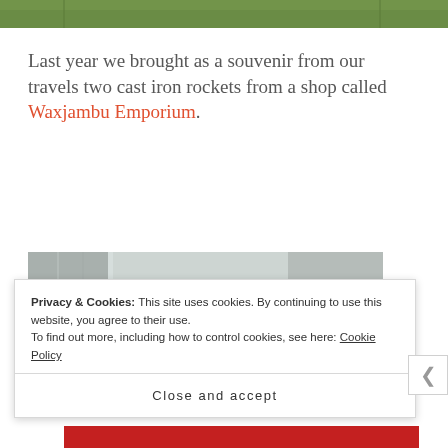[Figure (photo): Top portion of an outdoor photo showing green grass or turf, partially cropped at top of page]
Last year we brought as a souvenir from our travels two cast iron rockets from a shop called Waxjambu Emporium.
[Figure (photo): Partially visible photo showing a grey/silver metallic surface, likely the cast iron rockets]
Privacy & Cookies: This site uses cookies. By continuing to use this website, you agree to their use.
To find out more, including how to control cookies, see here: Cookie Policy
Close and accept